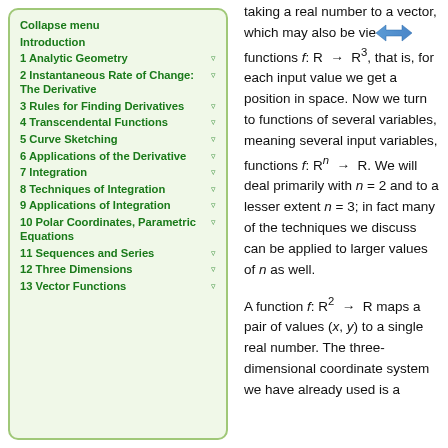Collapse menu
Introduction
1 Analytic Geometry
2 Instantaneous Rate of Change: The Derivative
3 Rules for Finding Derivatives
4 Transcendental Functions
5 Curve Sketching
6 Applications of the Derivative
7 Integration
8 Techniques of Integration
9 Applications of Integration
10 Polar Coordinates, Parametric Equations
11 Sequences and Series
12 Three Dimensions
13 Vector Functions
taking a real number to a vector, which may also be viewed as functions f: R → R³, that is, for each input value we get a position in space. Now we turn to functions of several variables, meaning several input variables, functions f: Rⁿ → R. We will deal primarily with n = 2 and to a lesser extent n = 3; in fact many of the techniques we discuss can be applied to larger values of n as well.
A function f: R² → R maps a pair of values (x, y) to a single real number. The three-dimensional coordinate system we have already used is a